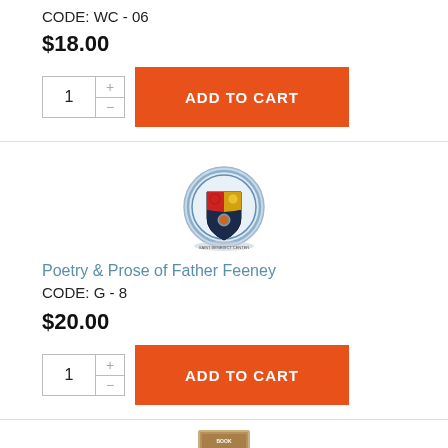CODE:  WC - 06
$18.00
[Figure (screenshot): Quantity selector with +/- buttons and orange ADD TO CART button]
[Figure (logo): Circular shield/crest logo with blue border, dark blue shield with red and yellow symbols]
Poetry & Prose of Father Feeney
CODE:  G - 8
$20.00
[Figure (screenshot): Quantity selector with +/- buttons and orange ADD TO CART button]
[Figure (photo): Small book cover image at bottom of page]